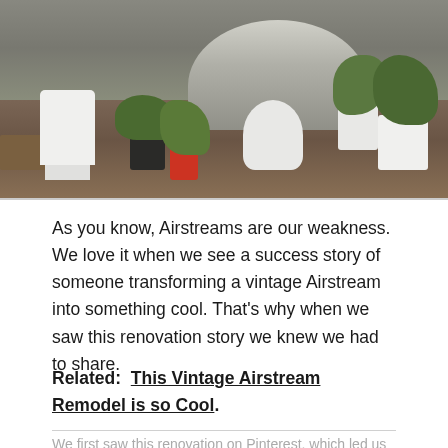[Figure (photo): Outdoor patio scene with a vintage Airstream trailer in the background, white modern chairs, multiple potted green plants, and a wooden table on a brown/terracotta ground surface.]
As you know, Airstreams are our weakness. We love it when we see a success story of someone transforming a vintage Airstream into something cool. That's why when we saw this renovation story we knew we had to share.
Related:  This Vintage Airstream Remodel is so Cool.
We first saw this renovation on Pinterest, which led us to an article on Dwell about a Notchdown Rove...